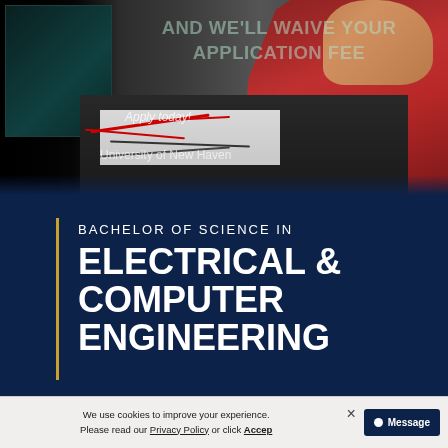[Figure (photo): Photo of engineering students working with electronics and circuit equipment on a desk. Overlaid text reads 'AND WE'LL WAIVE YOUR APPLICATION FEE', 'Apply today!', 'University of New Haven'. Dark background with a person wearing red shirt on the right.]
AND WE'LL WAIVE YOUR APPLICATION FEE
Apply today!
University of New Haven
BACHELOR OF SCIENCE IN ELECTRICAL & COMPUTER ENGINEERING
We use cookies to improve your experience. Please read our Privacy Policy or click Accept